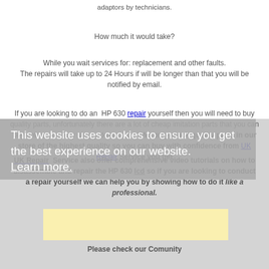adaptors by technicians.
How much it would take?
While you wait services for: replacement and other faults.
The repairs will take up to 24 Hours if will be longer than that you will be notified by email.
If you are looking to do an HP 630 repair yourself then you will need to buy quality parts, unfortunately there are a lot of cheap imitation parts that you can buy online and they simply do not work! We only stock quality parts in our store of the highest quality so you can buy with confidence from UK Repair Service you get
This website uses cookies to ensure you get the best experience on our website.
Learn more.
UK Repair Service also offer comprehensive video tutorials on how to disassemble and repair the HP 630 lcd so if you are looking to conduct a repair yourself we can help you by showing how to do it like a professional.
Please check our Comunity